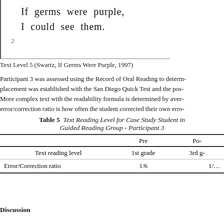[Figure (illustration): Scanned book page excerpt showing two lines of large text: 'If germs were purple, I could see them.' with page number 2 at bottom left, bordered on the left and bottom.]
Text Level 5 (Swartz, If Germs Were Purple, 1997)
Participant 3 was assessed using the Record of Oral Reading to determ- placement was established with the San Diego Quick Test and the pos- More complex text with the readability formula is determined by aver- error/correction ratio is how often the student corrected their own erro-
|  | Pre | Po- |
| --- | --- | --- |
| Text reading level | 1st grade | 3rd g- |
| Error/Correction ratio | 1/6 | 1/... |
Discussion